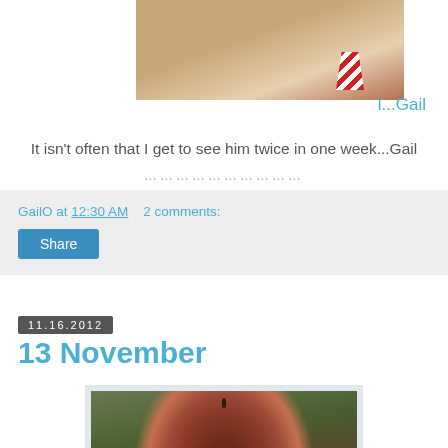[Figure (photo): Partial photo of a child wearing a red and white striped tie, with text label 'l...Gail' to the right]
It isn't often that I get to see him twice in one week...Gail
......................
GailO at 12:30 AM    2 comments:
Share
11.16.2012
13 November
[Figure (photo): Close-up photo of a dark red/maroon pear being held up by a hand, blurred background]